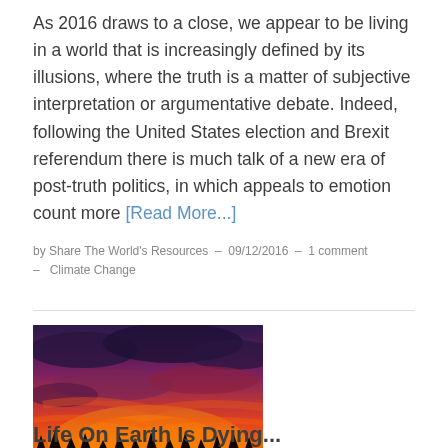As 2016 draws to a close, we appear to be living in a world that is increasingly defined by its illusions, where the truth is a matter of subjective interpretation or argumentative debate. Indeed, following the United States election and Brexit referendum there is much talk of a new era of post-truth politics, in which appeals to emotion count more [Read More...]
by Share The World's Resources  –  09/12/2016  –  1 comment  –  Climate Change
[Figure (photo): A dramatic sunset sky with deep red, orange, and purple clouds. Dark silhouette of trees along the bottom.]
Life On Earth Is Dying...